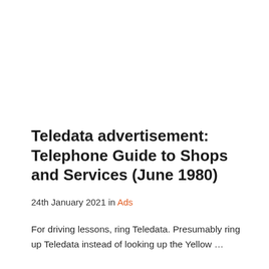Teledata advertisement: Telephone Guide to Shops and Services (June 1980)
24th January 2021 in Ads
For driving lessons, ring Teledata. Presumably ring up Teledata instead of looking up the Yellow ...